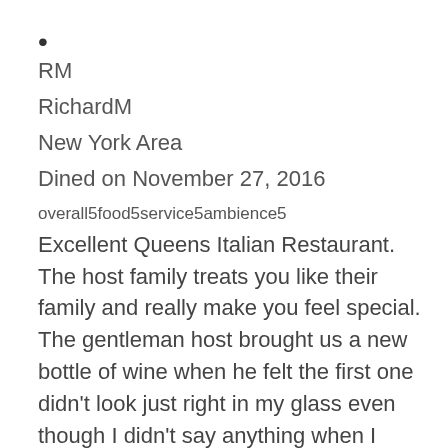•
RM
RichardM
New York Area
Dined on November 27, 2016
overall5food5service5ambience5
Excellent Queens Italian Restaurant. The host family treats you like their family and really make you feel special. The gentleman host brought us a new bottle of wine when he felt the first one didn't look just right in my glass even though I didn't say anything when I tasted it. I recommend Alberto's highly.
•